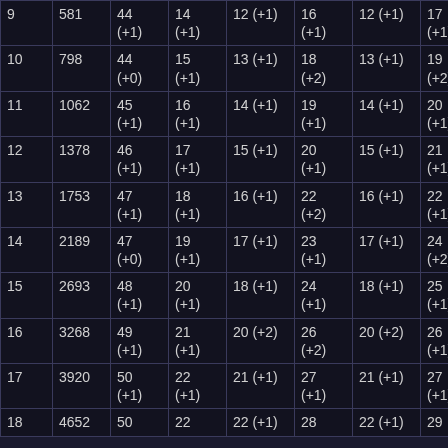| 9 | 581 | 44 (+1) | 14 (+1) | 12 (+1) | 16 (+1) | 12 (+1) | 17 (+1) |
| 10 | 798 | 44 (+0) | 15 (+1) | 13 (+1) | 18 (+2) | 13 (+1) | 19 (+2) |
| 11 | 1062 | 45 (+1) | 16 (+1) | 14 (+1) | 19 (+1) | 14 (+1) | 20 (+1) |
| 12 | 1378 | 46 (+1) | 17 (+1) | 15 (+1) | 20 (+1) | 15 (+1) | 21 (+1) |
| 13 | 1753 | 47 (+1) | 18 (+1) | 16 (+1) | 22 (+2) | 16 (+1) | 22 (+1) |
| 14 | 2189 | 47 (+0) | 19 (+1) | 17 (+1) | 23 (+1) | 17 (+1) | 24 (+2) |
| 15 | 2693 | 48 (+1) | 20 (+1) | 18 (+1) | 24 (+1) | 18 (+1) | 25 (+1) |
| 16 | 3268 | 49 (+1) | 21 (+1) | 20 (+2) | 26 (+2) | 20 (+2) | 26 (+1) |
| 17 | 3920 | 50 (+1) | 22 (+1) | 21 (+1) | 27 (+1) | 21 (+1) | 27 (+1) |
| 18 | 4652 | 50 | 22 | 22 (+1) | 28 | 22 (+1) | 29 |